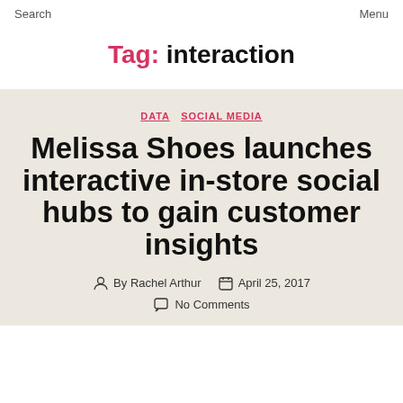Search    Menu
Tag: interaction
DATA  SOCIAL MEDIA
Melissa Shoes launches interactive in-store social hubs to gain customer insights
By Rachel Arthur  April 25, 2017  No Comments